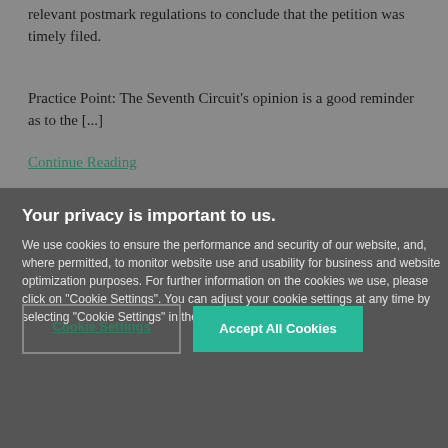relevant postmark regulations to conclude that the petition was timely filed.
Practice Point: The Seventh Circuit's opinion is a good reminder as to the [...]
Continue Reading
Your privacy is important to us.
We use cookies to ensure the performance and security of our website, and, where permitted, to monitor website use and usability for business and website optimization purposes. For further information on the cookies we use, please click on "Cookie Settings". You can adjust your cookie settings at any time by selecting "Cookie Settings" in the footer of the website.
Cookie Settings | Accept All Cookies